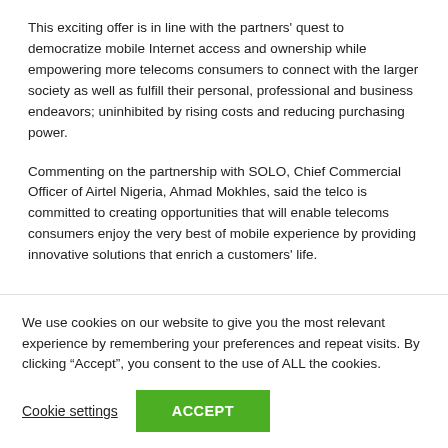This exciting offer is in line with the partners' quest to democratize mobile Internet access and ownership while empowering more telecoms consumers to connect with the larger society as well as fulfill their personal, professional and business endeavors; uninhibited by rising costs and reducing purchasing power.
Commenting on the partnership with SOLO, Chief Commercial Officer of Airtel Nigeria, Ahmad Mokhles, said the telco is committed to creating opportunities that will enable telecoms consumers enjoy the very best of mobile experience by providing innovative solutions that enrich a customers' life.
We use cookies on our website to give you the most relevant experience by remembering your preferences and repeat visits. By clicking “Accept”, you consent to the use of ALL the cookies.
Cookie settings
ACCEPT